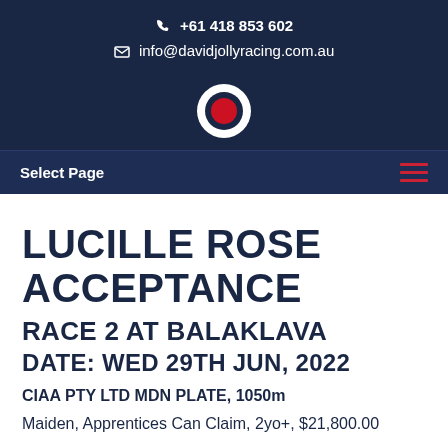+61 418 853 602 | info@davidjollyracing.com.au
[Figure (logo): Circular logo with white outer ring, dark navy middle ring, and red center circle]
Select Page
LUCILLE ROSE ACCEPTANCE
RACE 2 AT BALAKLAVA
DATE: WED 29TH JUN, 2022
CIAA PTY LTD MDN PLATE, 1050m
Maiden, Apprentices Can Claim, 2yo+, $21,800.00